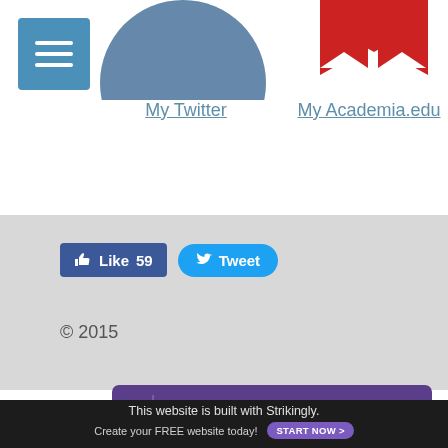[Figure (logo): Blue circle Twitter profile image, partially cropped at top]
[Figure (logo): Academia.edu red bookmark logo, partially cropped at top]
My Twitter
My Academia.edu
[Figure (infographic): Facebook Like button showing 59 likes and Twitter Tweet button]
© 2015
[Figure (infographic): Purple Strikingly banner: CREATE A SITE WITH strikingly]
This website is built with Strikingly.
Create your FREE website today!
START NOW >